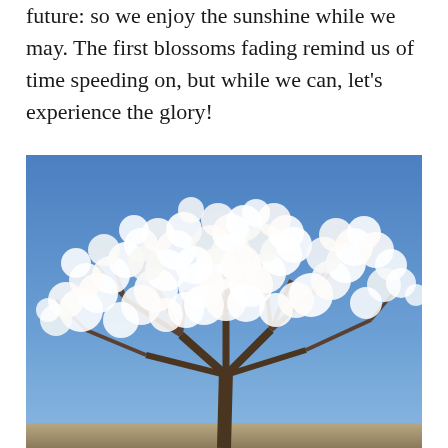future: so we enjoy the sunshine while we may. The first blossoms fading remind us of time speeding on, but while we can, let’s experience the glory!
[Figure (photo): A flowering tree with dense white blossoms covering its branches against a bright blue sky. The tree canopy is full and rounded, with many thin branches visible through the white flowers.]